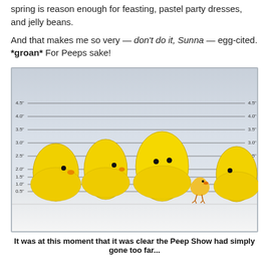spring is reason enough for feasting, pastel party dresses, and jelly beans.

And that makes me so very — don't do it, Sunna — egg-cited. *groan* For Peeps sake!
[Figure (photo): A police-style lineup photo showing five yellow Peep marshmallow chicks lined up against a height measurement background (marked 0.5" to 4.5"), with one small real baby chick among them. The background is light gray/blue with horizontal measurement lines on both sides.]
It was at this moment that it was clear the Peep Show had simply gone too far...